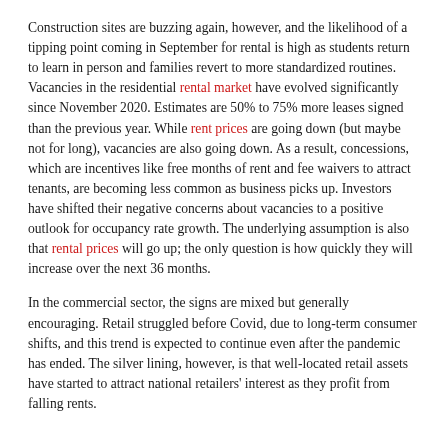Construction sites are buzzing again, however, and the likelihood of a tipping point coming in September for rental is high as students return to learn in person and families revert to more standardized routines. Vacancies in the residential rental market have evolved significantly since November 2020. Estimates are 50% to 75% more leases signed than the previous year. While rent prices are going down (but maybe not for long), vacancies are also going down. As a result, concessions, which are incentives like free months of rent and fee waivers to attract tenants, are becoming less common as business picks up. Investors have shifted their negative concerns about vacancies to a positive outlook for occupancy rate growth. The underlying assumption is also that rental prices will go up; the only question is how quickly they will increase over the next 36 months.
In the commercial sector, the signs are mixed but generally encouraging. Retail struggled before Covid, due to long-term consumer shifts, and this trend is expected to continue even after the pandemic has ended. The silver lining, however, is that well-located retail assets have started to attract national retailers' interest as they profit from falling rents.